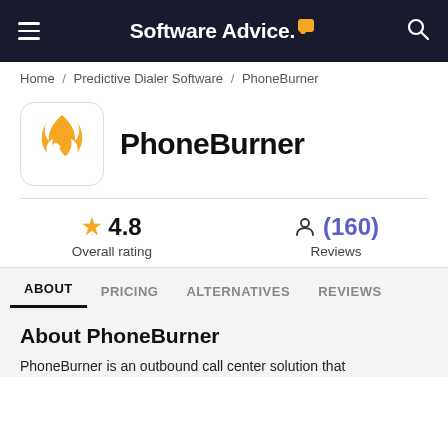Software Advice.
Home / Predictive Dialer Software / PhoneBurner
PhoneBurner
★ 4.8 Overall rating
(160) Reviews
ABOUT  PRICING  ALTERNATIVES  REVIEWS
About PhoneBurner
PhoneBurner is an outbound call center solution that